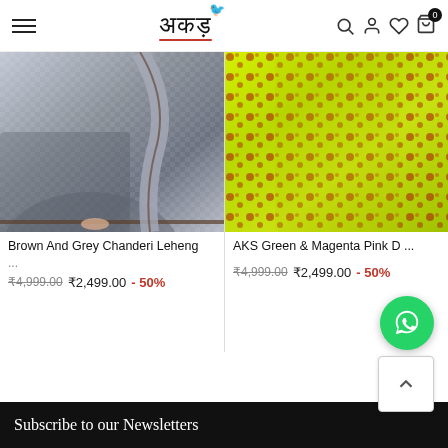AKS — navigation header with hamburger menu, logo, search, account, wishlist, cart (0) icons
[Figure (photo): Product photo: Brown and grey Chanderi lehenga lower half on model, grey fabric with subtle pattern and brown border trim]
Brown And Grey Chanderi Leheng ...
₹4,999.00  ₹2,499.00  - 50%
[Figure (photo): Product photo: AKS Green and Magenta Pink dress/sharara with bright lime-green background and red floral print pattern]
AKS Green & Magenta Pink D ...
₹4,999.00  ₹2,499.00  - 50%
[Figure (other): WhatsApp floating chat button (green circle with WhatsApp logo)]
[Figure (other): Scroll-to-top button (white square with up chevron)]
Subscribe to our Newsletters